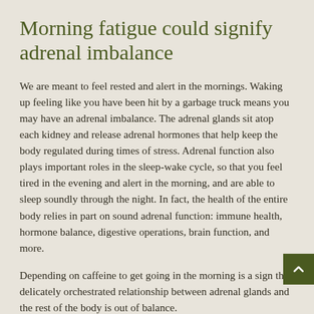Morning fatigue could signify adrenal imbalance
We are meant to feel rested and alert in the mornings. Waking up feeling like you have been hit by a garbage truck means you may have an adrenal imbalance. The adrenal glands sit atop each kidney and release adrenal hormones that help keep the body regulated during times of stress. Adrenal function also plays important roles in the sleep-wake cycle, so that you feel tired in the evening and alert in the morning, and are able to sleep soundly through the night. In fact, the health of the entire body relies in part on sound adrenal function: immune health, hormone balance, digestive operations, brain function, and more.
Depending on caffeine to get going in the morning is a sign the delicately orchestrated relationship between adrenal glands and the rest of the body is out of balance.